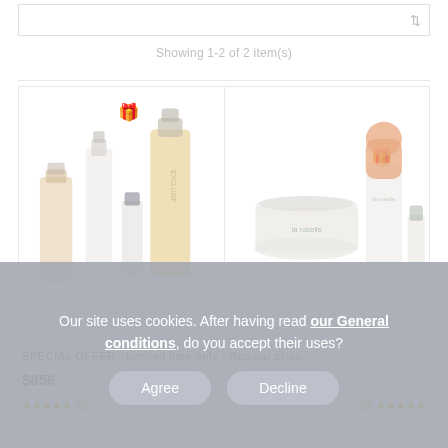Showing 1-2 of 2 item(s)
[Figure (photo): Two skincare product sets displayed side by side. Left card shows four Exclusif brand bottles/tubes in beige and white tones with a gift bow icon. Right card shows two La Roselle brand products (a jar and a roll-on bottle with orange cap) with a gift bow icon.]
Our site uses cookies. After having read our General conditions, do you accept their uses?